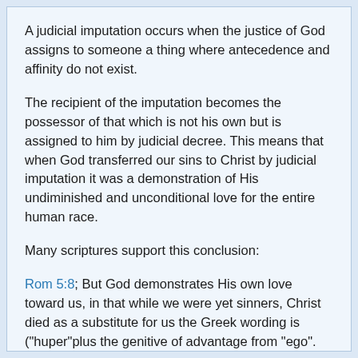A judicial imputation occurs when the justice of God assigns to someone a thing where antecedence and affinity do not exist.
The recipient of the imputation becomes the possessor of that which is not his own but is assigned to him by judicial decree. This means that when God transferred our sins to Christ by judicial imputation it was a demonstration of His undiminished and unconditional love for the entire human race.
Many scriptures support this conclusion:
Rom 5:8; But God demonstrates His own love toward us, in that while we were yet sinners, Christ died as a substitute for us the Greek wording is ("huper"plus the genitive of advantage from "ego".
2Cor 5:14; Love for Christ (objective Genitive of